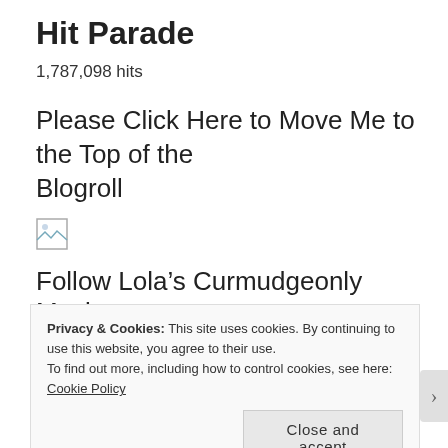Hit Parade
1,787,098 hits
Please Click Here to Move Me to the Top of the Blogroll
[Figure (other): Broken/missing image placeholder icon]
Follow Lola’s Curmudgeonly Musings
Enter your email address to follow this blog and receive notifications of new posts by email.
Privacy & Cookies: This site uses cookies. By continuing to use this website, you agree to their use. To find out more, including how to control cookies, see here: Cookie Policy
Close and accept